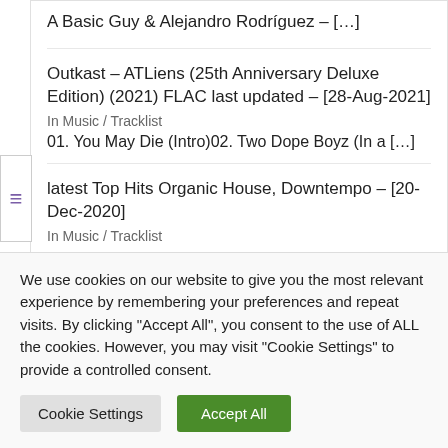A Basic Guy & Alejandro Rodríguez – […]
Outkast – ATLiens (25th Anniversary Deluxe Edition) (2021) FLAC last updated – [28-Aug-2021]
In Music / Tracklist
01. You May Die (Intro)02. Two Dope Boyz (In a […]
latest Top Hits Organic House, Downtempo – [20-Dec-2020]
In Music / Tracklist
We use cookies on our website to give you the most relevant experience by remembering your preferences and repeat visits. By clicking "Accept All", you consent to the use of ALL the cookies. However, you may visit "Cookie Settings" to provide a controlled consent.
Cookie Settings   Accept All